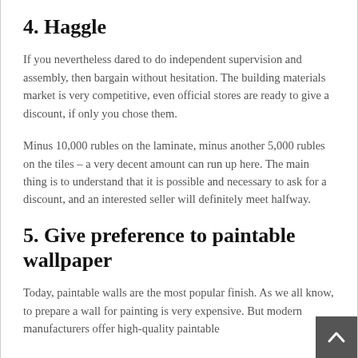4. Haggle
If you nevertheless dared to do independent supervision and assembly, then bargain without hesitation. The building materials market is very competitive, even official stores are ready to give a discount, if only you chose them.
Minus 10,000 rubles on the laminate, minus another 5,000 rubles on the tiles – a very decent amount can run up here. The main thing is to understand that it is possible and necessary to ask for a discount, and an interested seller will definitely meet halfway.
5. Give preference to paintable wallpaper
Today, paintable walls are the most popular finish. As we all know, to prepare a wall for painting is very expensive. But modern manufacturers offer high-quality paintable